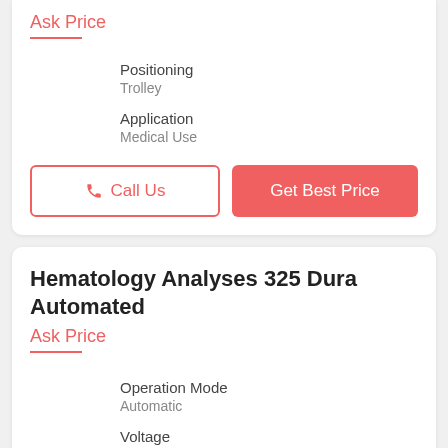Ask Price
Positioning
Trolley
Application
Medical Use
Call Us
Get Best Price
Hematology Analyses 325 Dura Automated
Ask Price
Operation Mode
Automatic
Voltage
110-240 V